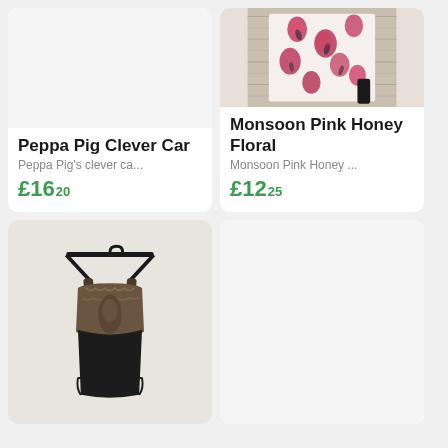[Figure (photo): Product card: Peppa Pig Clever Car - blank/white product image area]
Peppa Pig Clever Car
Peppa Pig's clever ca...
£16.20
[Figure (photo): Product card: Monsoon Pink Honey Floral - pink floral patterned clothing item on hanger against wooden background]
Monsoon Pink Honey Floral
Monsoon Pink Honey ...
£12.25
[Figure (photo): Product card: dark/black lace lingerie bodysuit on hanger against white wall]
[Figure (photo): Product card: blank/empty product image area]